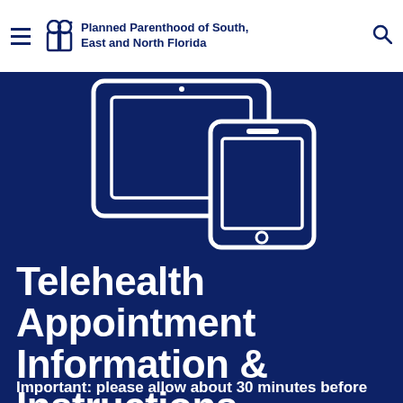Planned Parenthood of South, East and North Florida
[Figure (illustration): White line icon of a tablet and smartphone on a dark blue background]
Telehealth Appointment Information & Instructions
Important: please allow about 30 minutes before